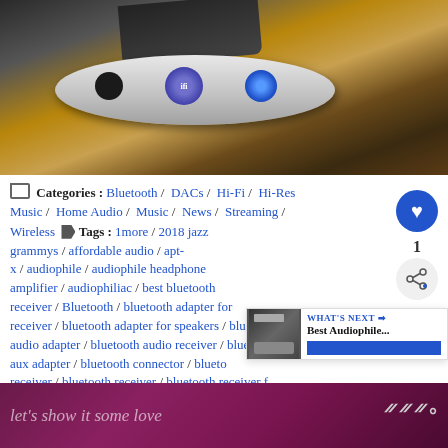[Figure (photo): Photo of an iFi audio Bluetooth DAC device on a wooden surface with a smartphone on top. The device is oval-shaped silver with control buttons.]
Categories : Bluetooth / DACs / Hi-Fi / Hi-Res Music / Home Audio / Music / News / Streaming / Wireless  Tags : 1more / 2018 jazz grammys / affordable audio / apt-x / audiophile / audiophile headphone amplifier / audiophiliac / best bluetooth receiver / Bluetooth / bluetooth adapter for receiver / bluetooth adapter for speakers / bluetooth audio adapter / bluetooth audio receiver / bluetooth aux adapter / bluetooth connector / bluetooth receiver / bluetooth receiver for car / bluetooth stereo receiver / bluetooth transmitter
[Figure (screenshot): WHAT'S NEXT panel showing Best Audiophile... article thumbnail]
[Figure (photo): Advertisement banner reading let's show it some love with music logo]